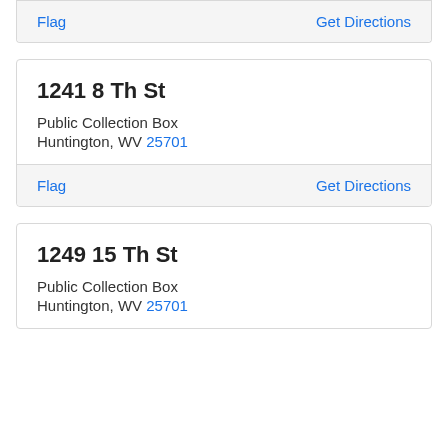Flag    Get Directions
1241 8 Th St
Public Collection Box
Huntington, WV 25701
Flag    Get Directions
1249 15 Th St
Public Collection Box
Huntington, WV 25701